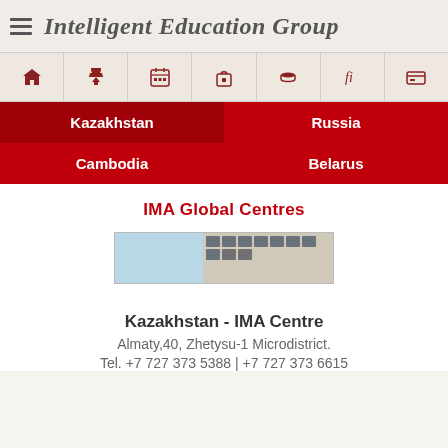Intelligent Education Group
[Figure (infographic): Navigation icon bar with 7 icons: home, trophy, calendar, gift, graduation cap, fi (font), credit card]
[Figure (infographic): Country navigation menu with Kazakhstan (active/dark red), Russia, Cambodia, Belarus on red background]
IMA Global Centres
[Figure (photo): Photo of IMA Centre building in Kazakhstan - partially visible, shows light blue section and a building facade]
Kazakhstan - IMA Centre
Almaty,40, Zhetysu-1 Microdistrict.
Tel. +7 727 373 5388 | +7 727 373 6615